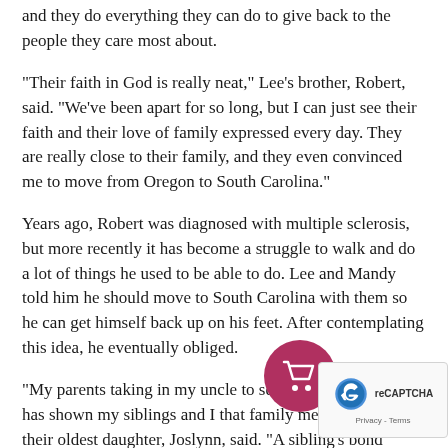and they do everything they can do to give back to the people they care most about.
"Their faith in God is really neat," Lee's brother, Robert, said. "We've been apart for so long, but I can just see their faith and their love of family expressed every day. They are really close to their family, and they even convinced me to move from Oregon to South Carolina."
Years ago, Robert was diagnosed with multiple sclerosis, but more recently it has become a struggle to walk and do a lot of things he used to be able to do. Lee and Mandy told him he should move to South Carolina with them so he can get himself back up on his feet. After contemplating this idea, he eventually obliged.
"My parents taking in my uncle to set him up on his feet has shown my siblings and I that family means family," their oldest daughter, Joslynn, said. "A sibling's bond shouldn't end when adulthood begins. This also isn't the first time they've taken someone in. In fact, my uncle is one out of a handful of friends and family that my parents have helped out. It's their mission to be a light for their loved ones."